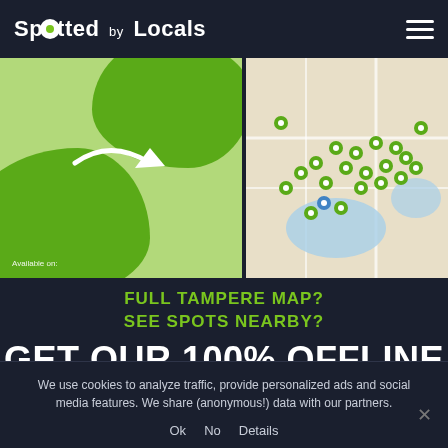Spotted by Locals
[Figure (screenshot): Two app screenshots side by side: left shows green blob design with arrow and 'Available on:' text; right shows a map of Tampere with green location pins]
FULL TAMPERE MAP? SEE SPOTS NEARBY?
GET OUR 100% OFFLINE
We use cookies to analyze traffic, provide personalized ads and social media features. We share (anonymous!) data with our partners.
Ok  No  Details